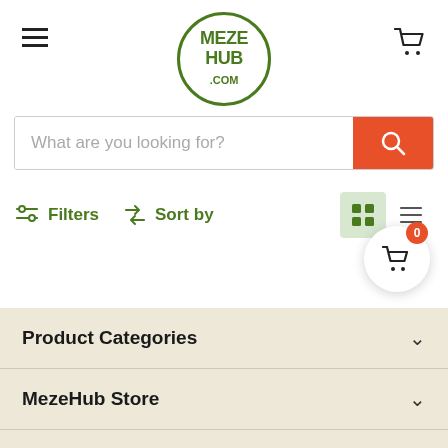[Figure (logo): MezeHub.com logo — circular green border with bold green text MEZE HUB .com inside]
[Figure (screenshot): Search bar with placeholder 'What are you looking for?' and red search button with magnifying glass icon]
Filters   Sort by
[Figure (screenshot): Grid view icon (active, highlighted green background) and list view icon]
[Figure (screenshot): Floating cart button with badge showing 0]
Product Categories
MezeHub Store
Terms and Conditions
Follow us